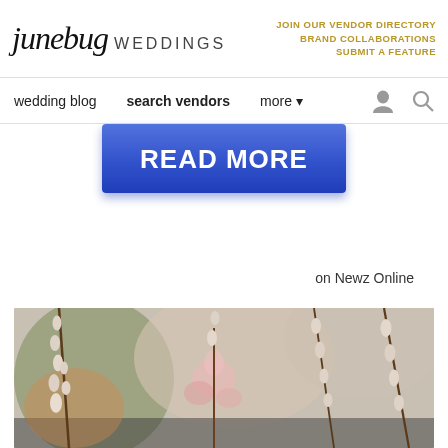junebug WEDDINGS | JOIN OUR VENDOR DIRECTORY | BRAND COLLABORATIONS | SUBMIT A FEATURE
wedding blog  search vendors  more
[Figure (screenshot): Blue READ MORE button with gradient, rounded corners]
on Newz Online
[Figure (photo): Close-up photo of pussy willow branches and soft pink flowers against a blurred background]